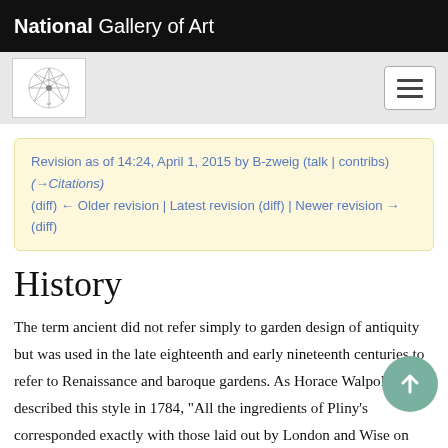National Gallery of Art
Revision as of 14:24, April 1, 2015 by B-zweig (talk | contribs) (→Citations)
(diff) ← Older revision | Latest revision (diff) | Newer revision → (diff)
History
The term ancient did not refer simply to garden design of antiquity but was used in the late eighteenth and early nineteenth centuries to refer to Renaissance and baroque gardens. As Horace Walpole described this style in 1784, "All the ingredients of Pliny's corresponded exactly with those laid out by London and Wise on Dutch principles